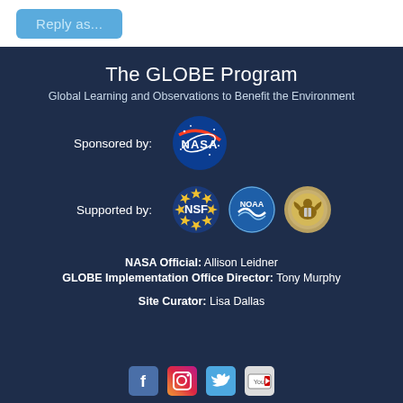Reply as...
The GLOBE Program
Global Learning and Observations to Benefit the Environment
Sponsored by:
[Figure (logo): NASA logo - blue circle with red swoosh and NASA text]
Supported by:
[Figure (logo): NSF logo, NOAA logo, and US State Department seal]
NASA Official: Allison Leidner
GLOBE Implementation Office Director: Tony Murphy
Site Curator: Lisa Dallas
[Figure (logo): Social media icons: Facebook, Instagram, Twitter, YouTube]